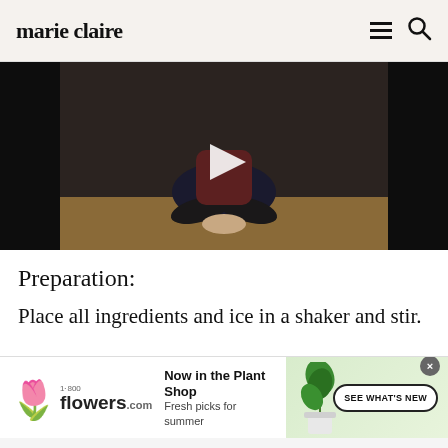marie claire
[Figure (photo): Video thumbnail showing a person in yoga/seated position wearing black pants and dark top, seated cross-legged on a wooden surface, with a play button overlay in the center]
Preparation:
Place all ingredients and ice in a shaker and stir.
[Figure (other): Advertisement banner for 1-800-flowers.com: 'Now in the Plant Shop – Fresh picks for summer' with a SEE WHAT'S NEW call-to-action button and plant imagery]